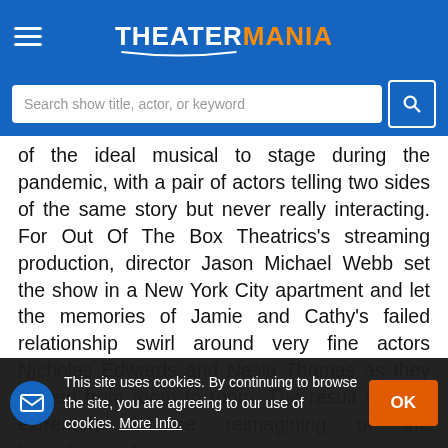THEATERMANIA
of the ideal musical to stage during the pandemic, with a pair of actors telling two sides of the same story but never really interacting. For Out Of The Box Theatrics's streaming production, director Jason Michael Webb set the show in a New York City apartment and let the memories of Jamie and Cathy's failed relationship swirl around very fine actors Nicholas Edwards and Nasia Thomas as they moved from room to room. The result was an extremely intense reimagining of the boundaries of immersive theater and a film that was way more
This site uses cookies. By continuing to browse the site, you are agreeing to our use of cookies. More Info.